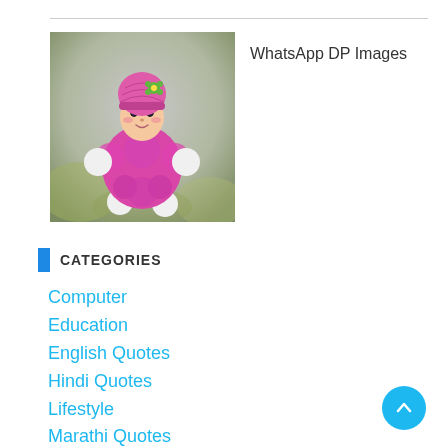[Figure (photo): Photo of a small cute doll figurine wearing a pink knitted hat and a pink fluffy body with white pom-pom hands and feet, floating against a blurred background.]
WhatsApp DP Images
CATEGORIES
Computer
Education
English Quotes
Hindi Quotes
Lifestyle
Marathi Quotes